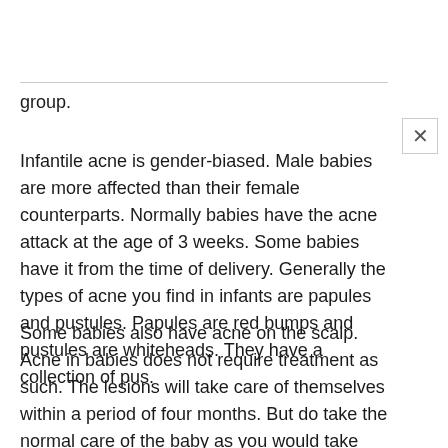group.
Infantile acne is gender-biased. Male babies are more affected than their female counterparts. Normally babies have the acne attack at the age of 3 weeks. Some babies have it from the time of delivery. Generally the types of acne you find in infants are papules and pustules. Papules are red bumps and pustules are whiteheads. They have a collection of pus.
Some babies also have acne on the scalp. Acne in babies does not require treatment as such. The lesions will take care of themselves within a period of four months. But do take the normal care of the baby as you would take care of its other body parts.